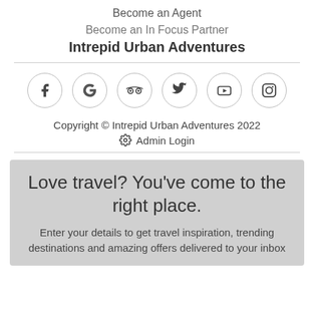Become an Agent
Become an In Focus Partner
Intrepid Urban Adventures
[Figure (infographic): Row of six social media icon circles: Facebook, Google, TripAdvisor, Twitter, YouTube, Instagram]
Copyright © Intrepid Urban Adventures 2022
⚙ Admin Login
Love travel? You've come to the right place.
Enter your details to get travel inspiration, trending destinations and amazing offers delivered to your inbox